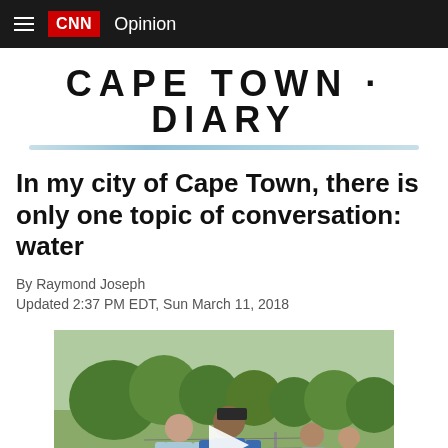CNN Opinion
CAPE TOWN · DIARY
In my city of Cape Town, there is only one topic of conversation: water
By Raymond Joseph
Updated 2:37 PM EDT, Sun March 11, 2018
[Figure (photo): People outdoors near a stone wall, including a woman in a light blue jacket and a man in a blue shirt wearing a cap, with other people in the background. A video play button is overlaid on the image.]